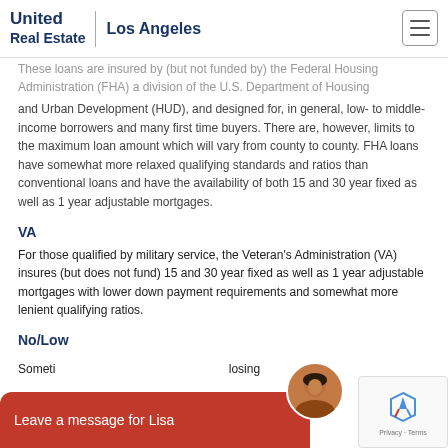United Real Estate | Los Angeles
These loans are insured by (but not funded by) the Federal Housing Administration (FHA) a division of the U.S. Department of Housing and Urban Development (HUD), and designed for, in general, low- to middle-income borrowers and many first time buyers. There are, however, limits to the maximum loan amount which will vary from county to county. FHA loans have somewhat more relaxed qualifying standards and ratios than conventional loans and have the availability of both 15 and 30 year fixed as well as 1 year adjustable mortgages.
VA
For those qualified by military service, the Veteran's Administration (VA) insures (but does not fund) 15 and 30 year fixed as well as 1 year adjustable mortgages with lower down payment requirements and somewhat more lenient qualifying ratios.
No/Low Down Payment Loans
Sometimes referred to as "closing..."
[Figure (photo): Chat widget with red bar saying 'Leave a message for Lisa' and circular avatar photo of a woman, plus reCAPTCHA badge in corner]